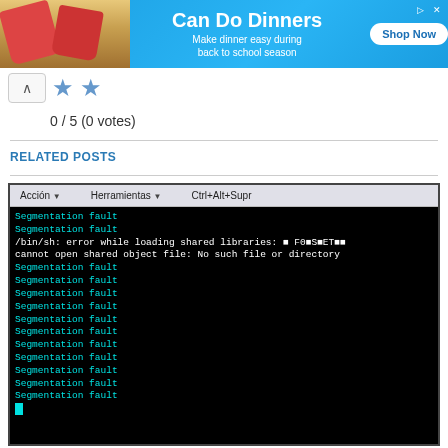[Figure (screenshot): Advertisement banner for 'Can Do Dinners' with food image on left, text 'Can Do Dinners - Make dinner easy during back to school season' in center, and 'Shop Now' button on right, blue background]
[Figure (other): Star rating widget showing 2 blue stars, with upvote arrow button]
0 / 5 (0 votes)
RELATED POSTS
[Figure (screenshot): Terminal/console screenshot showing repeated 'Segmentation fault' messages on black background, with a menu bar at top showing 'Acción', 'Herramientas', 'Ctrl+Alt+Supr', and error lines '/bin/sh: error while loading shared libraries: ■ F0■S■ET■■' and 'cannot open shared object file: No such file or directory']